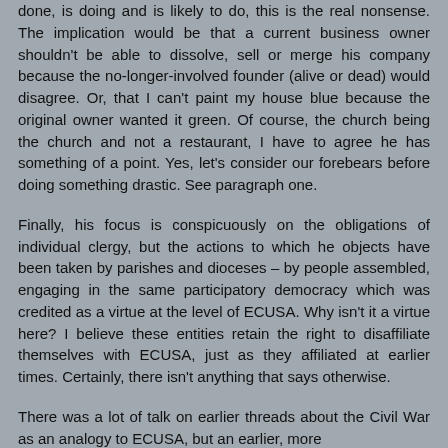done, is doing and is likely to do, this is the real nonsense. The implication would be that a current business owner shouldn't be able to dissolve, sell or merge his company because the no-longer-involved founder (alive or dead) would disagree. Or, that I can't paint my house blue because the original owner wanted it green. Of course, the church being the church and not a restaurant, I have to agree he has something of a point. Yes, let's consider our forebears before doing something drastic. See paragraph one.
Finally, his focus is conspicuously on the obligations of individual clergy, but the actions to which he objects have been taken by parishes and dioceses – by people assembled, engaging in the same participatory democracy which was credited as a virtue at the level of ECUSA. Why isn't it a virtue here? I believe these entities retain the right to disaffiliate themselves with ECUSA, just as they affiliated at earlier times. Certainly, there isn't anything that says otherwise.
There was a lot of talk on earlier threads about the Civil War as an analogy to ECUSA, but an earlier, more